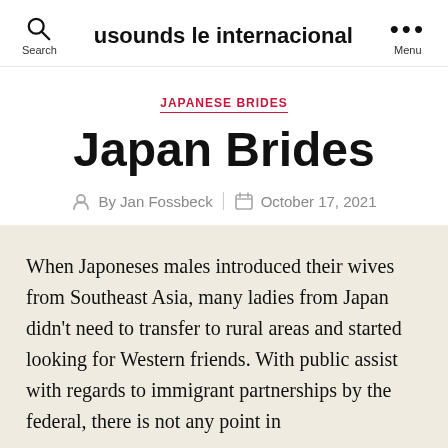usounds le internacional
JAPANESE BRIDES
Japan Brides
By Jan Fossbeck   October 17, 2021
When Japoneses males introduced their wives from Southeast Asia, many ladies from Japan didn't need to transfer to rural areas and started looking for Western friends. With public assist with regards to immigrant partnerships by the federal, there is not any point in